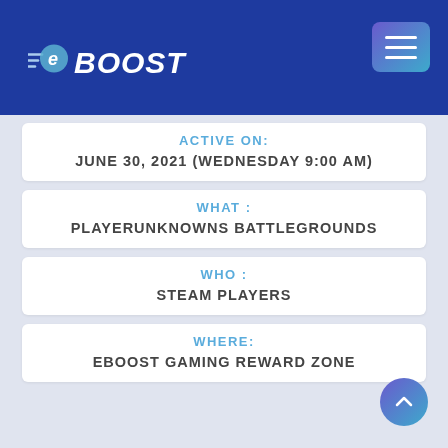eBOOST
ACTIVE ON: JUNE 30, 2021 (WEDNESDAY 9:00 AM)
WHAT : PLAYERUNKNOWNS BATTLEGROUNDS
WHO : STEAM PLAYERS
WHERE: EBOOST GAMING REWARD ZONE